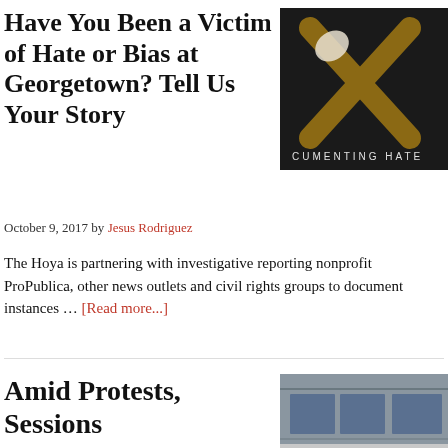Have You Been a Victim of Hate or Bias at Georgetown? Tell Us Your Story
[Figure (photo): Dark image with X marks and text reading CUMENTING HATE]
October 9, 2017 by Jesus Rodriguez
The Hoya is partnering with investigative reporting nonprofit ProPublica, other news outlets and civil rights groups to document instances … [Read more...]
Amid Protests, Sessions Lectures GULC Audience on Free Speech
[Figure (photo): Building exterior photo, partially faded]